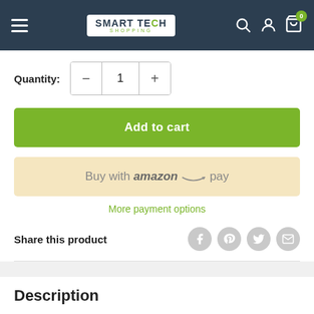Smart Tech Shopping — navigation header with logo, search, account, and cart icons
Quantity: 1
Add to cart
Buy with amazon pay
More payment options
Share this product
Description